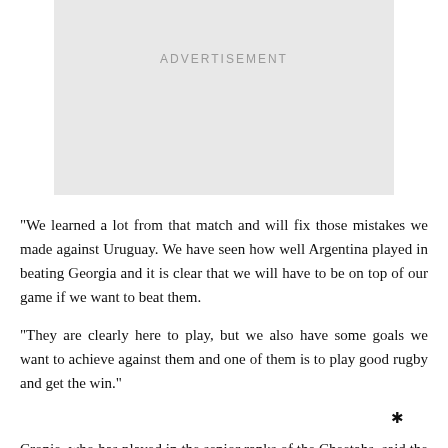[Figure (other): Advertisement placeholder box with light grey background and 'ADVERTISEMENT' text centered near top]
“We learned a lot from that match and will fix those mistakes we made against Uruguay. We have seen how well Argentina played in beating Georgia and it is clear that we will have to be on top of our game if we want to beat them.
“They are clearly here to play, but we also have some goals we want to achieve against them and one of them is to play good rugby and get the win.”
*
Cronje, who has played in the senior ranks of the Cheetahs, said the additions of Hendrikse (Lions), Wessels (Bulls) and Venter (Western Province) will assist him with decision-making during